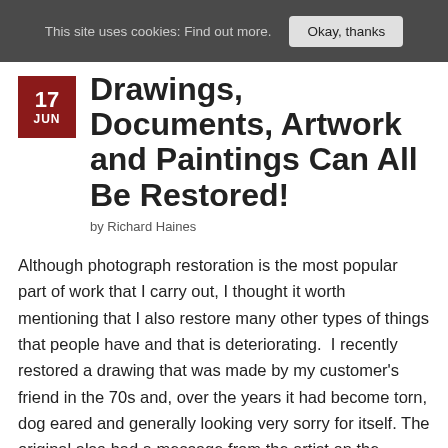This site uses cookies: Find out more.  Okay, thanks
Drawings, Documents, Artwork and Paintings Can All Be Restored!
by Richard Haines
Although photograph restoration is the most popular part of work that I carry out, I thought it worth mentioning that I also restore many other types of things that people have and that is deteriorating.  I recently restored a drawing that was made by my customer's friend in the 70s and, over the years it had become torn, dog eared and generally looking very sorry for itself. The original also had a message from the artist on the reverse side. To reach the final result I scanned the original drawing and scanned the message. I then restored the drawing and superimposed the message on to the same image. I then